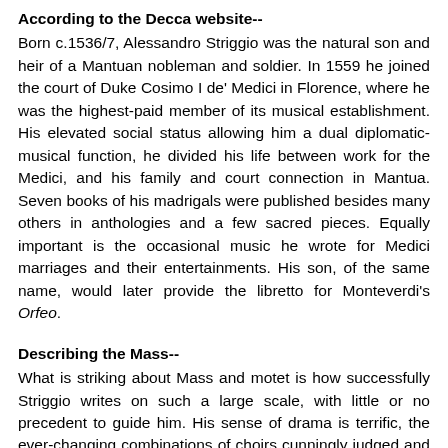According to the Decca website--
Born c.1536/7, Alessandro Striggio was the natural son and heir of a Mantuan nobleman and soldier. In 1559 he joined the court of Duke Cosimo I de' Medici in Florence, where he was the highest-paid member of its musical establishment. His elevated social status allowing him a dual diplomatic-musical function, he divided his life between work for the Medici, and his family and court connection in Mantua. Seven books of his madrigals were published besides many others in anthologies and a few sacred pieces. Equally important is the occasional music he wrote for Medici marriages and their entertainments. His son, of the same name, would later provide the libretto for Monteverdi's Orfeo.
Describing the Mass--
What is striking about Mass and motet is how successfully Striggio writes on such a large scale, with little or no precedent to guide him. His sense of drama is terrific, the ever-changing combinations of choirs cunningly judged and never predictable. The harmony is conservative (this is only 1560s Italy), but there is no lack of expressive touches: soprano suspensions at “gloria tua” (thy glory) in the